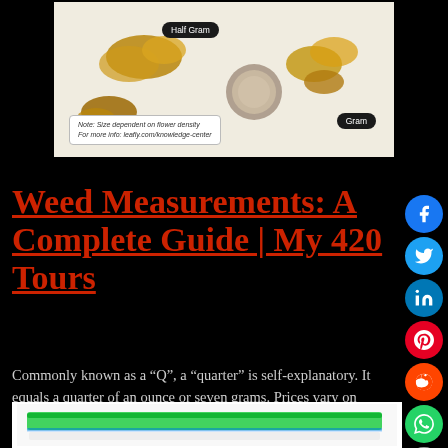[Figure (photo): Photo of cannabis concentrate pieces with labels 'Half Gram' and 'Gram', with a note about size being dependent on flower density and referencing leafly.com/knowledge-center]
Weed Measurements: A Complete Guide | My 420 Tours
Commonly known as a “Q”, a “quarter” is self-explanatory. It equals a quarter of an ounce or seven grams. Prices vary on quarters anywhere from …
[Figure (photo): Photo of a green ziplock bag]